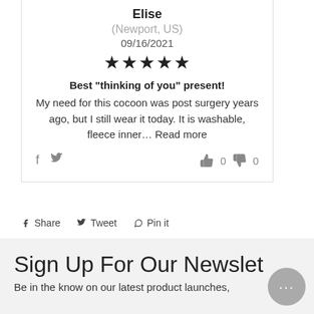Elise
(Newport, US)
09/16/2021
[Figure (other): Five filled star rating icons]
Best "thinking of you" present!
My need for this cocoon was post surgery years ago, but I still wear it today. It is washable, fleece inner... Read more
[Figure (other): Social share icons (f, twitter) and vote icons (thumbs up 0, thumbs down 0)]
f Share   Tweet   Pin it
Sign Up For Our Newslet
Be in the know on our latest product launches,